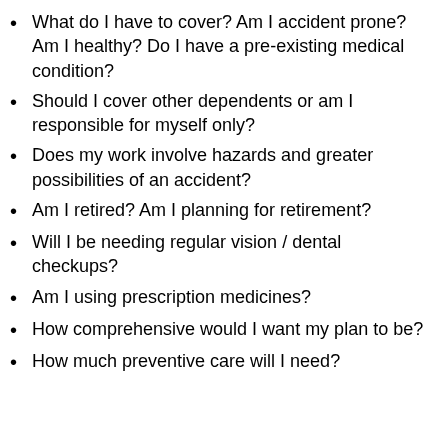What do I have to cover? Am I accident prone? Am I healthy? Do I have a pre-existing medical condition?
Should I cover other dependents or am I responsible for myself only?
Does my work involve hazards and greater possibilities of an accident?
Am I retired? Am I planning for retirement?
Will I be needing regular vision / dental checkups?
Am I using prescription medicines?
How comprehensive would I want my plan to be?
How much preventive care will I need?